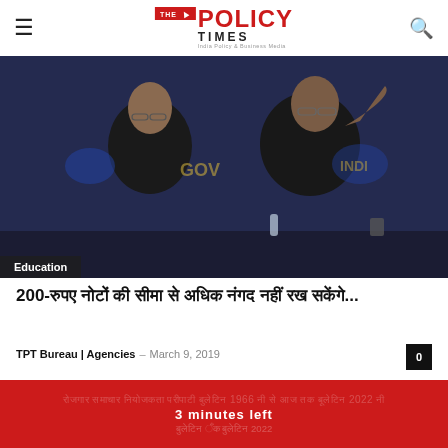The Policy Times — India Policy & Business Media
[Figure (photo): Two men in dark attire seated at a table with a 'Government of India' backdrop; one is speaking with raised hand]
Education
200-रुपए नोटों की सीमा से अधिक नंगद नहीं रख सकेंगे...
TPT Bureau | Agencies – March 9, 2019
( ) , 2019 ,...
3 minutes left